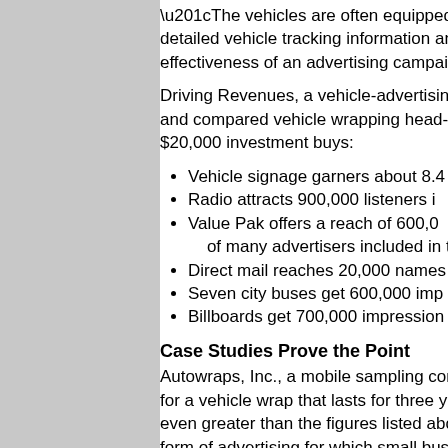“The vehicles are often equipped with G... detailed vehicle tracking information an... effectiveness of an advertising campaig...
Driving Revenues, a vehicle-advertising... and compared vehicle wrapping head-o... $20,000 investment buys:
Vehicle signage garners about 8.4...
Radio attracts 900,000 listeners i...
Value Pak offers a reach of 600,0... of many advertisers included in th...
Direct mail reaches 20,000 names...
Seven city buses get 600,000 imp...
Billboards get 700,000 impression...
Case Studies Prove the Point
Autowraps, Inc., a mobile sampling com... for a vehicle wrap that lasts for three ye... even greater than the figures listed abo... form of advertising for which small busi... impression of vehicle wrapping.
“An advertisement in the yellow pages o... “And your competitors are right there w...